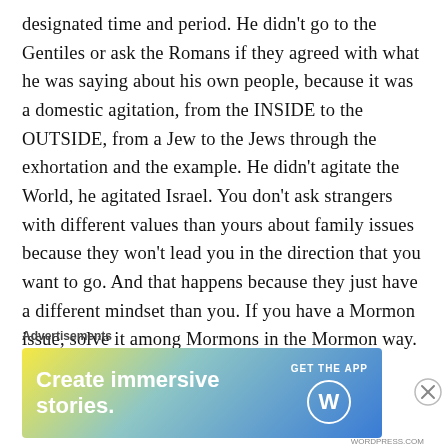designated time and period. He didn't go to the Gentiles or ask the Romans if they agreed with what he was saying about his own people, because it was a domestic agitation, from the INSIDE to the OUTSIDE, from a Jew to the Jews through the exhortation and the example. He didn't agitate the World, he agitated Israel. You don't ask strangers with different values than yours about family issues because they won't lead you in the direction that you want to go. And that happens because they just have a different mindset than you. If you have a Mormon issue, solve it among Mormons in the Mormon way.
Advertisements
[Figure (other): Advertisement banner for WordPress app: 'Create immersive stories.' with GET THE APP button and WordPress logo]